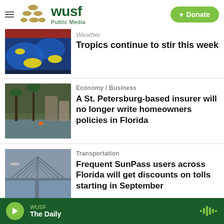WUSF Public Media — Donate
[Figure (screenshot): Tropical weather map showing Atlantic with storm systems highlighted in yellow]
Weather
Tropics continue to stir this week
[Figure (photo): Flooded street with palm trees and submerged vehicles in St. Petersburg]
Economy / Business
A St. Petersburg-based insurer will no longer write homeowners policies in Florida
[Figure (photo): Sunshine Skyway Bridge in Tampa Bay area under overcast sky]
Transportation
Frequent SunPass users across Florida will get discounts on tolls starting in September
WUSF — The Daily